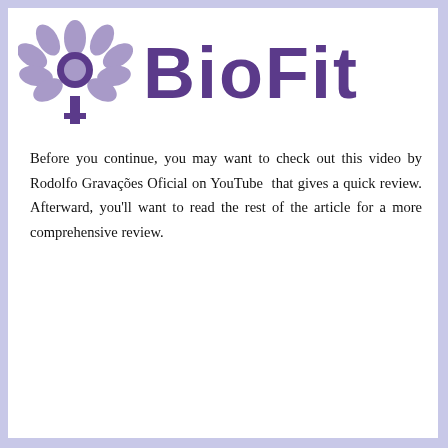[Figure (logo): BioFit logo with a decorative purple flower/tree illustration on the left and the text 'BioFit' in large bold purple letters on the right]
Before you continue, you may want to check out this video by Rodolfo Gravações Oficial on YouTube that gives a quick review. Afterward, you'll want to read the rest of the article for a more comprehensive review.